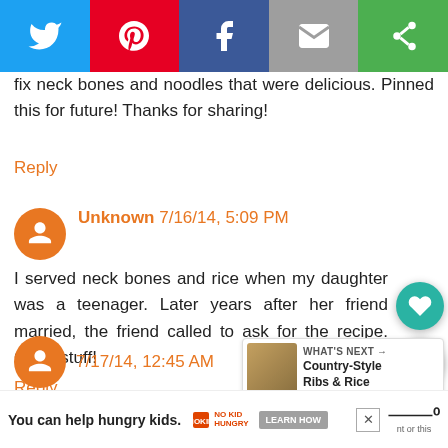[Figure (other): Social share bar with Twitter (blue), Pinterest (red), Facebook (dark blue), Email (gray), and share/save (green) buttons]
fix neck bones and noodles that were delicious. Pinned this for future! Thanks for sharing!
Reply
Unknown 7/16/14, 5:09 PM
I served neck bones and rice when my daughter was a teenager. Later years after her friend married, the friend called to ask for the recipe. Good stuff!
Reply
WHAT'S NEXT → Country-Style Ribs & Rice
You can help hungry kids.   NO KID HUNGRY   LEARN HOW